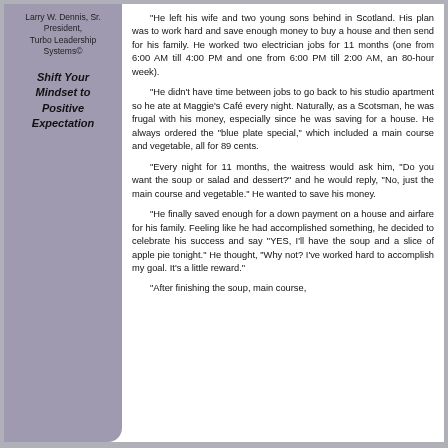Larry W. Dennis, Sr. President, Turbo Leadership Systems©
Shift Your Mindset to Positive Expectation
"He left his wife and two young sons behind in Scotland. His plan was to work hard and save enough money to buy a house and then send for his family. He worked two electrician jobs for 11 months (one from 6:00 AM till 4:00 PM and one from 6:00 PM till 2:00 AM, an 80-hour week).
"He didn't have time between jobs to go back to his studio apartment so he ate at Maggie's Café every night. Naturally, as a Scotsman, he was frugal with his money, especially since he was saving for a house. He always ordered the "blue plate special," which included a main course and vegetable, all for 89 cents.
"Every night for 11 months, the waitress would ask him, "Do you want the soup or salad and dessert?" and he would reply, "No, just the main course and vegetable." He wanted to save his money.
"He finally saved enough for a down payment on a house and airfare for his family. Feeling like he had accomplished something, he decided to celebrate his success and say "YES, I'll have the soup and a slice of apple pie tonight." He thought, "Why not? I've worked hard to accomplish my goal. It's a little reward."
"After finishing the soup, main course,